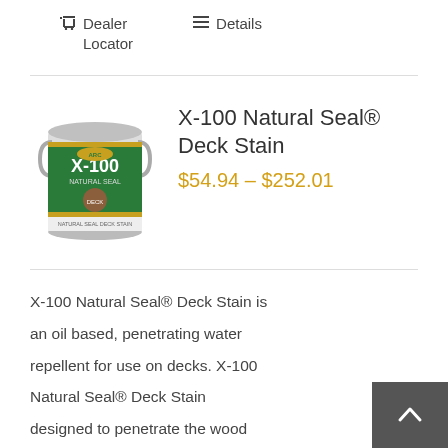Dealer Locator   Details
X-100 Natural Seal® Deck Stain
$54.94 – $252.01
[Figure (photo): Green can of X-100 Natural Seal product with label]
X-100 Natural Seal® Deck Stain is an oil based, penetrating water repellent for use on decks. X-100 Natural Seal® Deck Stain designed to penetrate the wood